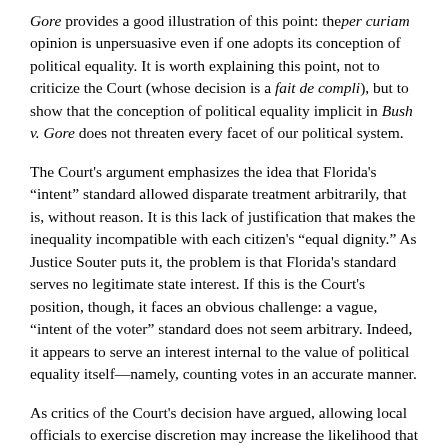Gore provides a good illustration of this point: the per curiam opinion is unpersuasive even if one adopts its conception of political equality. It is worth explaining this point, not to criticize the Court (whose decision is a fait de compli), but to show that the conception of political equality implicit in Bush v. Gore does not threaten every facet of our political system.
The Court's argument emphasizes the idea that Florida's "intent" standard allowed disparate treatment arbitrarily, that is, without reason. It is this lack of justification that makes the inequality incompatible with each citizen's "equal dignity." As Justice Souter puts it, the problem is that Florida's standard serves no legitimate state interest. If this is the Court's position, though, it faces an obvious challenge: a vague, "intent of the voter" standard does not seem arbitrary. Indeed, it appears to serve an interest internal to the value of political equality itself—namely, counting votes in an accurate manner.
As critics of the Court's decision have argued, allowing local officials to exercise discretion may increase the likelihood that a voter's intent will be determined correctly. For example, suppose that someone makes strong indentations for every question on the ballot, except one. It seems reasonable to conclude that she did not intend to cast a vote on that